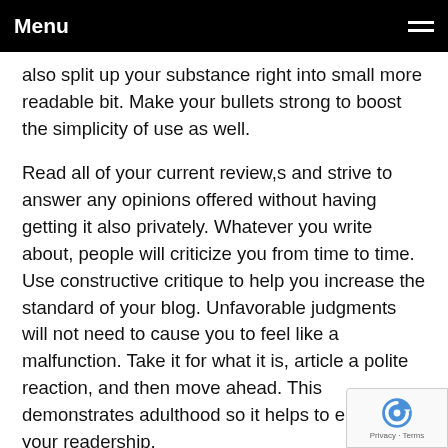Menu
also split up your substance right into small more readable bit. Make your bullets strong to boost the simplicity of use as well.
Read all of your current review,s and strive to answer any opinions offered without having getting it also privately. Whatever you write about, people will criticize you from time to time. Use constructive critique to help you increase the standard of your blog. Unfavorable judgments will not need to cause you to feel like a malfunction. Take it for what it is, article a polite reaction, and then move ahead. This demonstrates adulthood so it helps to enhance your readership.